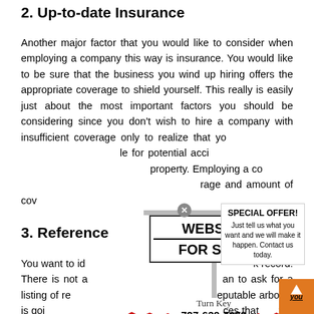2. Up-to-date Insurance
Another major factor that you would like to consider when employing a company this way is insurance. You would like to be sure that the business you wind up hiring offers the appropriate coverage to shield yourself. This really is easily just about the most important factors you should be considering since you don't wish to hire a company with insufficient coverage only to realize that you are likely to take place accountable for potential accidents that happen on your property. Employing a company also means checking the extent of coverage and amount of coverage they provide.
3. References
You want to identify an arborist that has a solid track record. There is not a better way to identify this than to ask for a listing of references to get in touch with. A reputable arborist is going to have no issues giving you references that will be in a position to contact to go about their experiences
[Figure (infographic): Advertisement overlay showing a 'Website For Sale' real estate style sign with Turn Key and phone number 727-639-7078, a Special Offer box, a red torn-paper banner about buying websites, a close button, and a scroll-to-top orange button.]